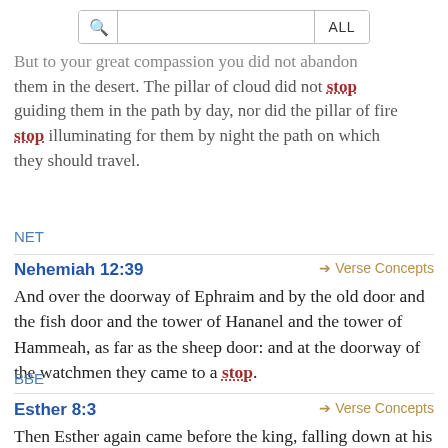[Figure (screenshot): Search bar with magnifying glass icon and ALL button]
But to your great compassion you did not abandon them in the desert. The pillar of cloud did not stop guiding them in the path by day, nor did the pillar of fire stop illuminating for them by night the path on which they should travel.
NET
Nehemiah 12:39
→ Verse Concepts
And over the doorway of Ephraim and by the old door and the fish door and the tower of Hananel and the tower of Hammeah, as far as the sheep door: and at the doorway of the watchmen they came to a stop.
BBE
Esther 8:3
→ Verse Concepts
Then Esther again came before the king, falling down at his feet, and made request to him with weeping, that he would put a stop to the evil purpose of Haman the...